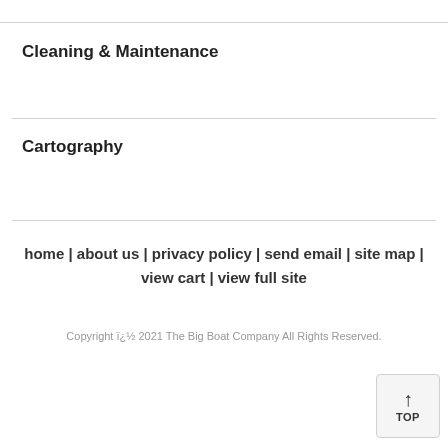Cleaning & Maintenance
Cartography
home | about us | privacy policy | send email | site map | view cart | view full site
Copyright ï¿½ 2021 The Big Boat Company All Rights Reserved.